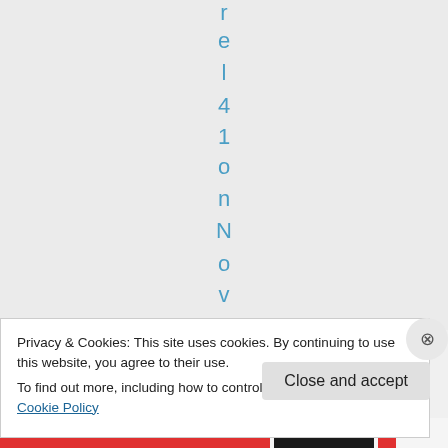r e l 4 1 o n N o v e m b
Privacy & Cookies: This site uses cookies. By continuing to use this website, you agree to their use.
To find out more, including how to control cookies, see here: Cookie Policy
Close and accept